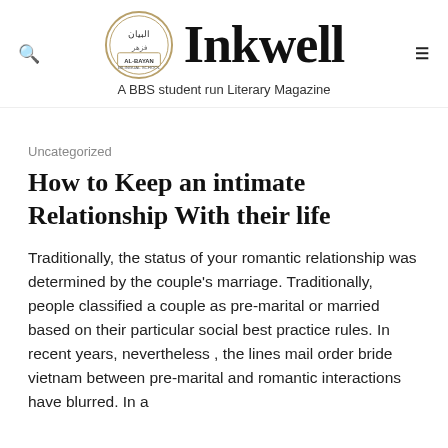Inkwell – A BBS student run Literary Magazine
Uncategorized
How to Keep an intimate Relationship With their life
Traditionally, the status of your romantic relationship was determined by the couple's marriage. Traditionally, people classified a couple as pre-marital or married based on their particular social best practice rules. In recent years, nevertheless , the lines mail order bride vietnam between pre-marital and romantic interactions have blurred. In a